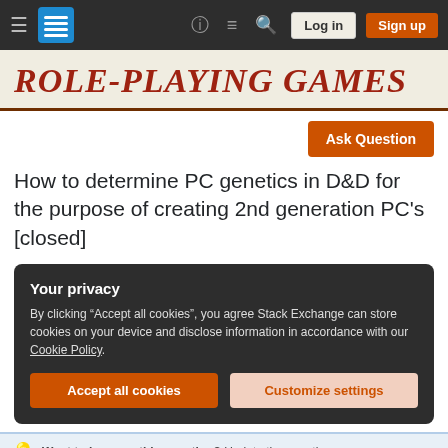Role-playing Games Stack Exchange navigation bar with hamburger menu, logo, help, chat, search, Log in, Sign up
Role-Playing Games
Ask Question
How to determine PC genetics in D&D for the purpose of creating 2nd generation PC's [closed]
Your privacy
By clicking "Accept all cookies", you agree Stack Exchange can store cookies on your device and disclose information in accordance with our Cookie Policy.
Accept all cookies   Customize settings
Want to improve this question? Update the question